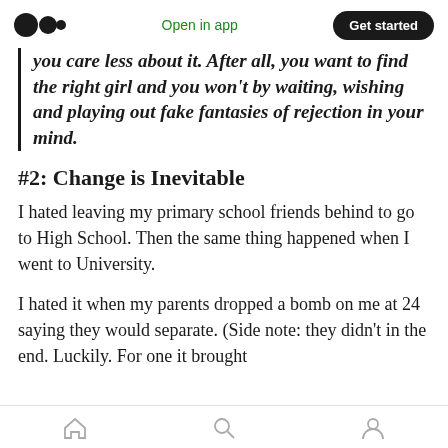Medium logo | Open in app | Get started
you care less about it. After all, you want to find the right girl and you won't by waiting, wishing and playing out fake fantasies of rejection in your mind.
#2: Change is Inevitable
I hated leaving my primary school friends behind to go to High School. Then the same thing happened when I went to University.
I hated it when my parents dropped a bomb on me at 24 saying they would separate. (Side note: they didn't in the end. Luckily. For one it brought
Home | Search | Profile